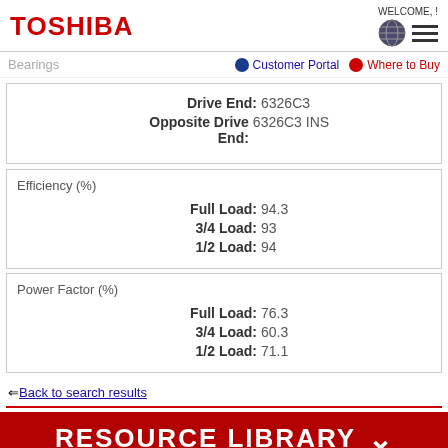TOSHIBA | WELCOME, !
Bearings | Customer Portal | Where to Buy
| Drive End: | 6326C3 |
| Opposite Drive End: | 6326C3 INS |
Efficiency (%)
| Full Load: | 94.3 |
| 3/4 Load: | 93 |
| 1/2 Load: | 94 |
Power Factor (%)
| Full Load: | 76.3 |
| 3/4 Load: | 60.3 |
| 1/2 Load: | 71.1 |
⇐ Back to search results
RESOURCE LIBRARY